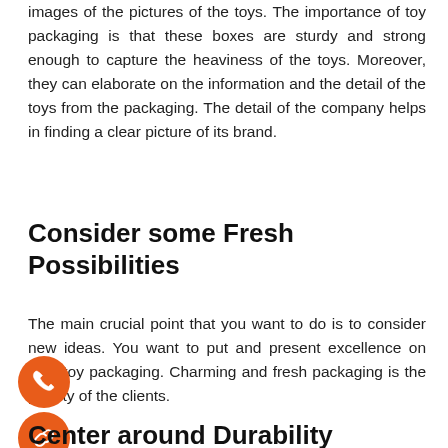images of the pictures of the toys. The importance of toy packaging is that these boxes are sturdy and strong enough to capture the heaviness of the toys. Moreover, they can elaborate on the information and the detail of the toys from the packaging. The detail of the company helps in finding a clear picture of its brand.
Consider some Fresh Possibilities
The main crucial point that you want to do is to consider new ideas. You want to put and present excellence on your toy packaging. Charming and fresh packaging is the priority of the clients.
Center around Durability